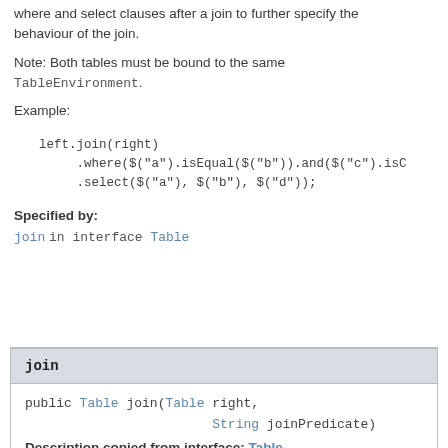where and select clauses after a join to further specify the behaviour of the join.
Note: Both tables must be bound to the same TableEnvironment.
Example:
left.join(right)
      .where($("a").isEqual($("b")).and($("c").isC
      .select($("a"), $("b"), $("d"));
Specified by:
join in interface Table
join
public Table join(Table right,
                       String joinPredicate)
Description copied from interface: Table